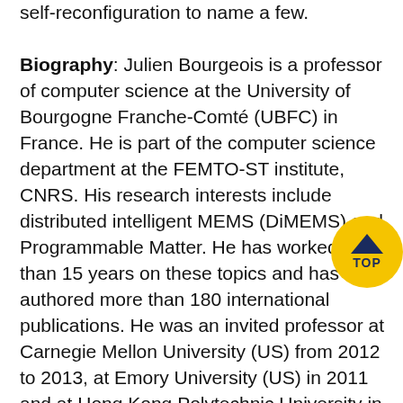self-reconfiguration to name a few. Biography: Julien Bourgeois is a professor of computer science at the University of Bourgogne Franche-Comté (UBFC) in France. He is part of the computer science department at the FEMTO-ST institute, CNRS. His research interests include distributed intelligent MEMS (DiMEMS) and Programmable Matter. He has worked more than 15 years on these topics and has co-authored more than 180 international publications. He was an invited professor at Carnegie Mellon University (US) from 2012 to 2013, at Emory University (US) in 2011 and at Hong Kong Polytechnic University in 2010, 2011 and 2015. He led different funded research projects (Smart Surface, Smart Blocks, Computation and coordination for DiMEMS). He is currently leading the Programmable Matter Project funded by the ANR and the ISITE-BFC project. He organized and chaired many conferences